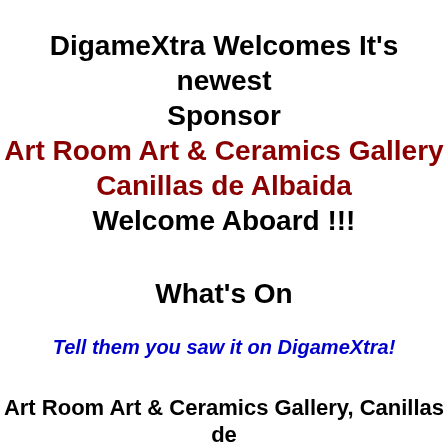DigameXtra Welcomes It’s newest Sponsor Art Room Art & Ceramics Gallery Canillas de Albaida Welcome Aboard !!!
What’s On
Tell them you saw it on DigameXtra!
Art Room Art & Ceramics Gallery, Canillas de